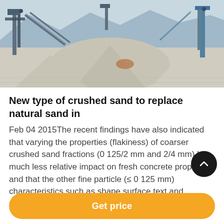[Figure (photo): Aerial/ground-level photograph of a quarry/aggregate crushing plant facility with piles of crushed stone and industrial machinery]
New type of crushed sand to replace natural sand in
Feb 04 2015The recent findings have also indicated that varying the properties (flakiness) of coarser crushed sand fractions (0 125/2 mm and 2/4 mm) has much less relative impact on fresh concrete properties and that the other fine particle (≤ 0 125 mm) characteristics such as shape surface text and mineralogy could have a similar effect as